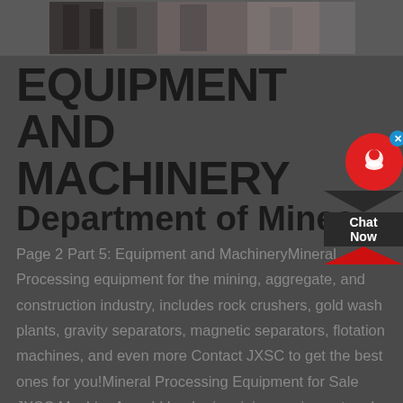[Figure (photo): Partial photo of mining equipment and workers at the top of the page, cropped strip]
EQUIPMENT AND MACHINERY Department of Mines
Page 2 Part 5: Equipment and MachineryMineral Processing equipment for the mining, aggregate, and construction industry, includes rock crushers, gold wash plants, gravity separators, magnetic separators, flotation machines, and even more Contact JXSC to get the best ones for you!Mineral Processing Equipment for Sale JXSC MachineA world leader in mining equipment and rock excavation Our constantly evolving offering for mining and rock excavation covers rock drilling, rock cutting, crushing and screening, loading and hauling, tunneling, quarrying and breaking and demolition No matter the terrain, material or